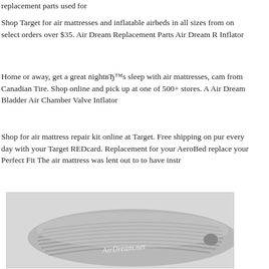replacement parts used for
Shop Target for air mattresses and inflatable airbeds in all sizes from on select orders over $35. Air Dream Replacement Parts Air Dream R Inflator
Home or away, get a great night’s sleep with air mattresses, cam from Canadian Tire. Shop online and pick up at one of 500+ stores. A Air Dream Bladder Air Chamber Valve Inflator
Shop for air mattress repair kit online at Target. Free shipping on pur every day with your Target REDcard. Replacement for your AeroBed replace your Perfect Fit The air mattress was lent out to to have instr
[Figure (photo): Photo of an Air Dream air mattress with ribbed surface texture, gray color, shown at an angle. AirDream.net watermark visible on the mattress.]